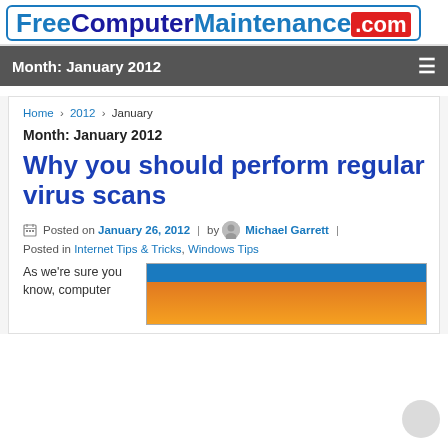FreeComputerMaintenance.com
Month: January 2012
Home › 2012 › January
Month: January 2012
Why you should perform regular virus scans
Posted on January 26, 2012 | by Michael Garrett |
Posted in Internet Tips & Tricks, Windows Tips
As we're sure you know, computer
[Figure (screenshot): Screenshot showing an alert window with orange/blue colors and text 'Automatic Alert']